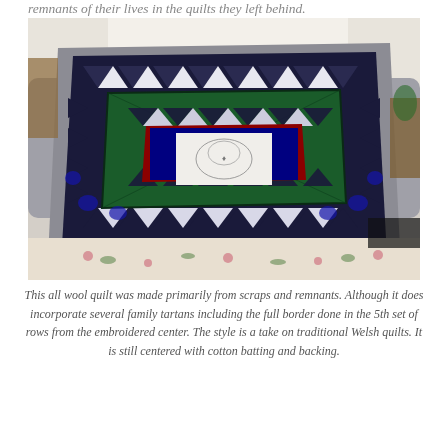remnants of their lives in the quilts they left behind.
[Figure (photo): A decorative wool quilt draped over a sofa, featuring geometric patterns including triangles and a star center design in blue, black, red, white, and tartan plaid patterns, with a grey border. The quilt is displayed in a living room setting with furniture and a floral floor covering visible.]
This all wool quilt was made primarily from scraps and remnants. Although it does incorporate several family tartans including the full border done in the 5th set of rows from the embroidered center. The style is a take on traditional Welsh quilts. It is still centered with cotton batting and backing.